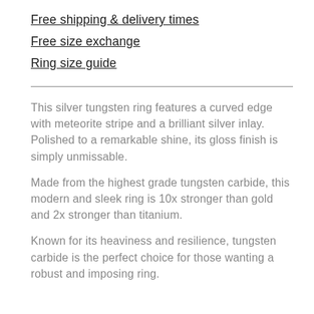Free shipping & delivery times
Free size exchange
Ring size guide
This silver tungsten ring features a curved edge with meteorite stripe and a brilliant silver inlay. Polished to a remarkable shine, its gloss finish is simply unmissable.
Made from the highest grade tungsten carbide, this modern and sleek ring is 10x stronger than gold and 2x stronger than titanium.
Known for its heaviness and resilience, tungsten carbide is the perfect choice for those wanting a robust and imposing ring.